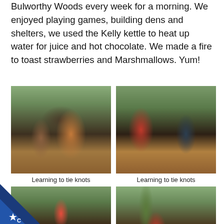Bulworthy Woods every week for a morning. We enjoyed playing games, building dens and shelters, we used the Kelly kettle to heat up water for juice and hot chocolate. We made a fire to toast strawberries and Marshmallows. Yum!
[Figure (photo): Children sitting in a woodland setting learning to tie knots, one child in a pink coat is prominent]
Learning to tie knots
[Figure (photo): Children in dark uniforms sitting in woodland, one child in a red jacket raising their arm]
Learning to tie knots
[Figure (photo): Children in a woodland setting with fallen branches, building dens or shelters]
[Figure (photo): Child climbing or swinging between trees in a woodland setting]